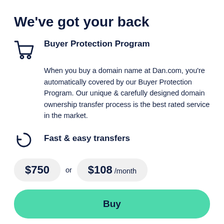We've got your back
Buyer Protection Program
When you buy a domain name at Dan.com, you're automatically covered by our Buyer Protection Program. Our unique & carefully designed domain ownership transfer process is the best rated service in the market.
Fast & easy transfers
$750 or $108 /month
Buy